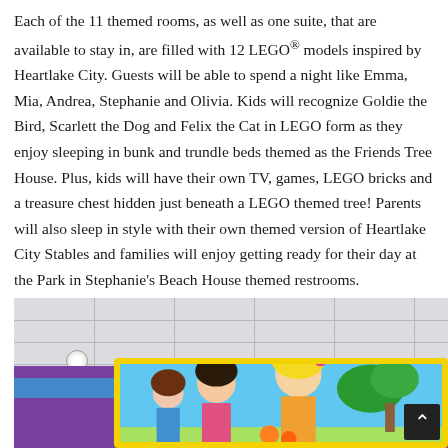Each of the 11 themed rooms, as well as one suite, that are available to stay in, are filled with 12 LEGO® models inspired by Heartlake City. Guests will be able to spend a night like Emma, Mia, Andrea, Stephanie and Olivia. Kids will recognize Goldie the Bird, Scarlett the Dog and Felix the Cat in LEGO form as they enjoy sleeping in bunk and trundle beds themed as the Friends Tree House. Plus, kids will have their own TV, games, LEGO bricks and a treasure chest hidden just beneath a LEGO themed tree! Parents will also sleep in style with their own themed version of Heartlake City Stables and families will enjoy getting ready for their day at the Park in Stephanie's Beach House themed restrooms.
[Figure (photo): Interior photo of a LEGO Friends themed room showing a white drop ceiling with tiles, a purple wall with a blue stripe, and a large yellow-framed mural/artwork on the wall featuring cartoon LEGO Friends characters in a bright colorful scene.]